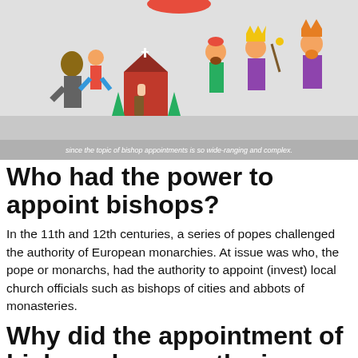[Figure (illustration): Colorful cartoon illustration showing medieval characters including a monk, people walking, a red church building, kings and bishops in colored robes and crowns]
since the topic of bishop appointments is so wide-ranging and complex.
Who had the power to appoint bishops?
In the 11th and 12th centuries, a series of popes challenged the authority of European monarchies. At issue was who, the pope or monarchs, had the authority to appoint (invest) local church officials such as bishops of cities and abbots of monasteries.
Why did the appointment of bishops become the issue in a struggle between kings